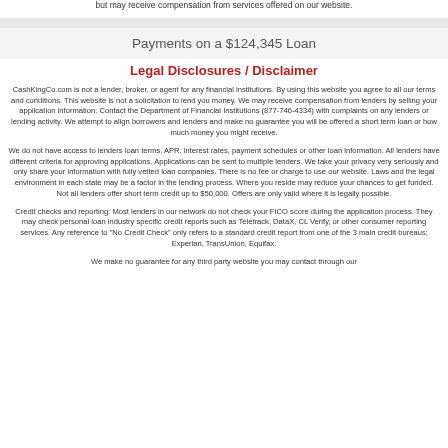but may receive compensation from services offered on our website.
Payments on a $124,345 Loan
Legal Disclosures / Disclaimer
CashKingCo.com is not a lender, broker, or agent for any financial institutions. By using this website you agree to all our terms and conditions. This website is not a solicitation to lend you money. We may receive compensation from lenders by selling your application information. Contact the Department of Financial Institutions (877-746-4334) with complaints on any lenders or lending activity. We attempt to align borrowers and lenders and make no guarantee you will be offered a short term loan or how much money you might receive.
We do not have access to lenders loan terms, APR, interest rates, payment schedules or other loan information. All lenders have different criteria for approving applications. Applications can be sent to multiple lenders. We take your privacy very seriously and only share your information with fully vetted loan companies. There is no fee or charge to use our website. Laws and the legal environment in each state may be a factor in the lending process. Where you reside may reduce your chances to get funded. Not all lenders offer short term credit up to $50,000. Offers are only valid where it is legally possible.
Credit checks and reporting: Most lenders in our network do not check your FICO score during the application process. They may check personal loan industry specific credit reports such as Teletrack, DataX, CL Verify, or other consumer reporting services. Any reference to "No Credit Check" only refers to a standard credit report from one of the 3 main credit bureaus; Experian, TransUnion, Equifax.
We make no guarantee for any third party website you may contact through our